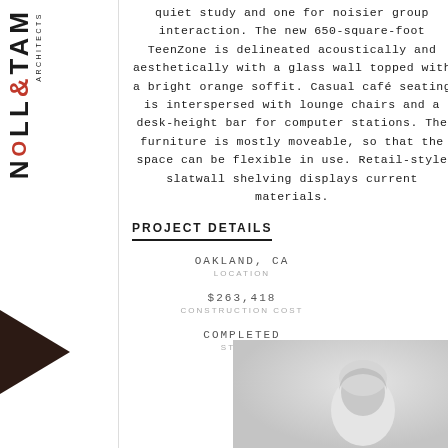[Figure (logo): Noll & Tam Architects logo with vertical text]
quiet study and one for noisier group interaction. The new 650-square-foot TeenZone is delineated acoustically and aesthetically with a glass wall topped with a bright orange soffit. Casual café seating is interspersed with lounge chairs and a desk-height bar for computer stations. The furniture is mostly moveable, so that the space can be flexible in use. Retail-style slatwall shelving displays current materials.
PROJECT DETAILS
OAKLAND, CA
LOCATION
$263,418
CONSTRUCTION COST
COMPLETED
STATUS
[Figure (photo): Black and white photo of a person, partially visible at bottom right of page]